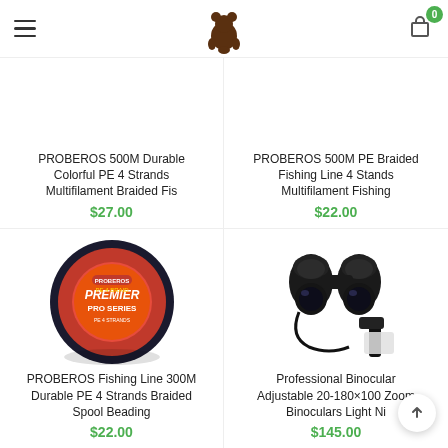Navigation header with hamburger menu, bear logo, and cart icon (0 items)
PROBEROS 500M Durable Colorful PE 4 Strands Multifilament Braided Fis
$27.00
PROBEROS 500M PE Braided Fishing Line 4 Stands Multifilament Fishing
$22.00
[Figure (photo): PROBEROS Premier Pro Series red braided fishing line on a spool]
PROBEROS Fishing Line 300M Durable PE 4 Strands Braided Spool Beading
$22.00
[Figure (photo): Professional binoculars with accessories including carrying strap and mount]
Professional Binocular Adjustable 20-180×100 Zoom Binoculars Light Ni
$145.00